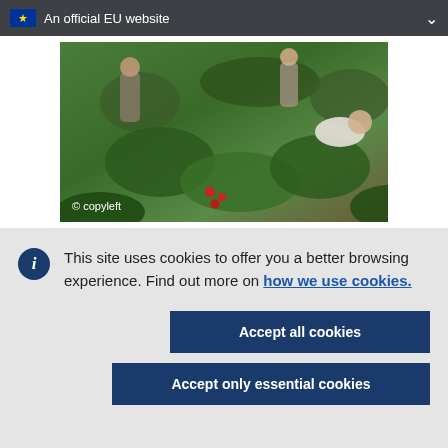An official EU website
[Figure (photo): People crouching and examining plants in a garden or outdoor setting, with green foliage and red berries visible. Copyright watermark reads '© copyleft'.]
This site uses cookies to offer you a better browsing experience. Find out more on how we use cookies.
Accept all cookies
Accept only essential cookies